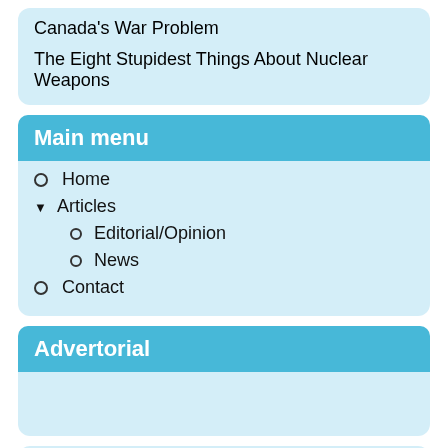Canada's War Problem
The Eight Stupidest Things About Nuclear Weapons
Main menu
Home
Articles
Editorial/Opinion
News
Contact
Advertorial
MFF Old Website Contents